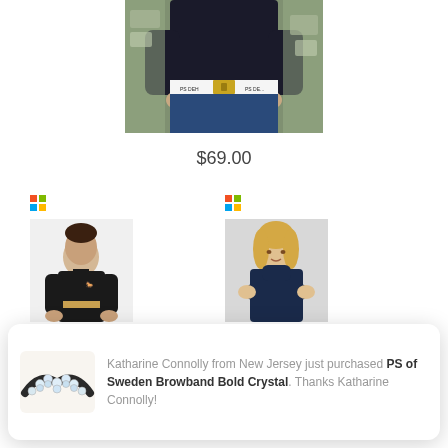[Figure (photo): Person wearing a dark top and jeans with a branded belt (PS of Sweden), standing outdoors near stone/trees. Cropped to torso area.]
$69.00
[Figure (photo): Young man in black polo shirt wearing a belt, product listing photo.]
[Figure (photo): Woman in navy turtleneck with arms crossed, product listing photo.]
Katharine Connolly from New Jersey just purchased PS of Sweden Browband Bold Crystal. Thanks Katharine Connolly!